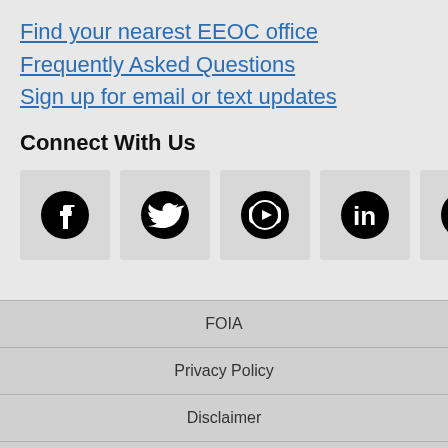Find your nearest EEOC office
Frequently Asked Questions
Sign up for email or text updates
Connect With Us
[Figure (infographic): Social media icons: Facebook, Twitter, YouTube, LinkedIn, RSS feed]
FOIA | Privacy Policy | Disclaimer | Accessibility